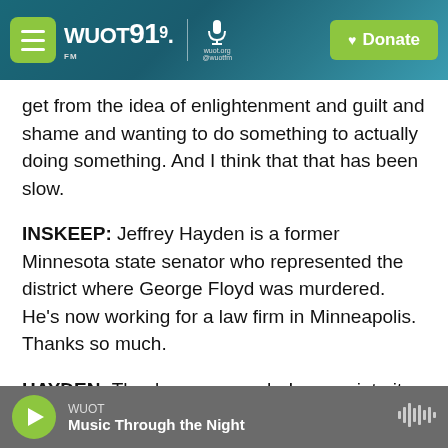WUOT 91.9 FM | Donate
get from the idea of enlightenment and guilt and shame and wanting to do something to actually doing something. And I think that that has been slow.
INSKEEP: Jeffrey Hayden is a former Minnesota state senator who represented the district where George Floyd was murdered. He's now working for a law firm in Minneapolis. Thanks so much.
HAYDEN: Thank you so much. I appreciate it.
(SOUNDBITE OF TERENCE BLANCHARD'S "MIDNIGHT") Transcript provided by NPR
WUOT | Music Through the Night